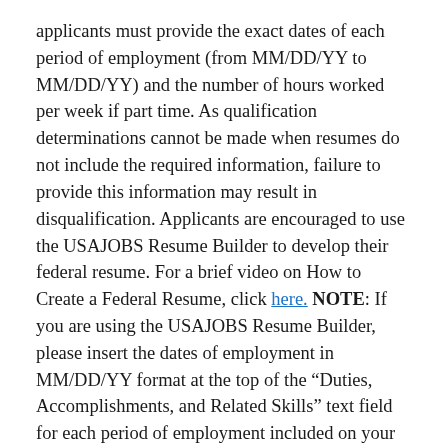applicants must provide the exact dates of each period of employment (from MM/DD/YY to MM/DD/YY) and the number of hours worked per week if part time. As qualification determinations cannot be made when resumes do not include the required information, failure to provide this information may result in disqualification. Applicants are encouraged to use the USAJOBS Resume Builder to develop their federal resume. For a brief video on How to Create a Federal Resume, click here. NOTE: If you are using the USAJOBS Resume Builder, please insert the dates of employment in MM/DD/YY format at the top of the “Duties, Accomplishments, and Related Skills” text field for each period of employment included on your resume.
Current or former FEMA Reservists/DAE employees:
To accurately credit your experience for these intermittent positions, make sure to list the dates